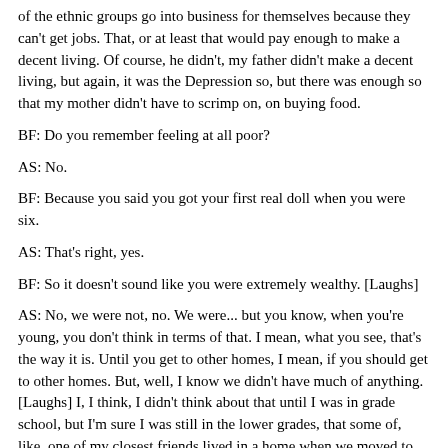of the ethnic groups go into business for themselves because they can't get jobs. That, or at least that would pay enough to make a decent living. Of course, he didn't, my father didn't make a decent living, but again, it was the Depression so, but there was enough so that my mother didn't have to scrimp on, on buying food.
BF: Do you remember feeling at all poor?
AS: No.
BF: Because you said you got your first real doll when you were six.
AS: That's right, yes.
BF: So it doesn't sound like you were extremely wealthy. [Laughs]
AS: No, we were not, no. We were... but you know, when you're young, you don't think in terms of that. I mean, what you see, that's the way it is. Until you get to other homes, I mean, if you should get to other homes. But, well, I know we didn't have much of anything. [Laughs] I, I think, I didn't think about that until I was in grade school, but I'm sure I was still in the lower grades, that some of, like, one of my closest friends lived in a home when we moved to Twenty-sixth Avenue, that they had a lot of things there. They had a lot of things, and so her father was doing extremely well. I